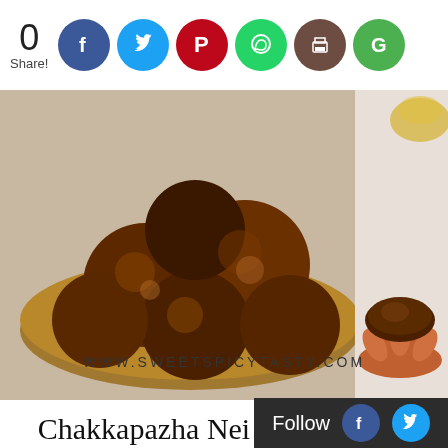0 Share! [Social icons: Facebook, Twitter, Pinterest, WhatsApp, Print, Google]
[Figure (photo): Fried round appam snacks in a wooden bowl, and one on a decorative terracotta stand. Watermark: WWW.SWEETSPICYTASTY.COM]
Chakkapazha Nei appam using rice fl...
Follow [Facebook] [Twitter]